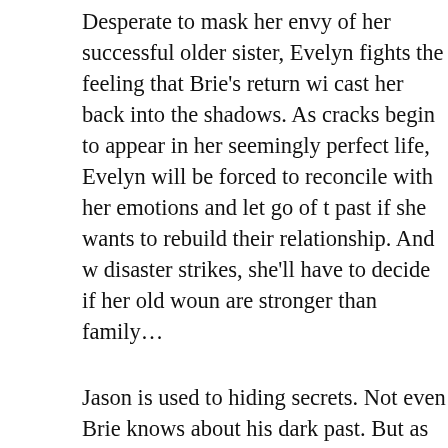Desperate to mask her envy of her successful older sister, Evelyn fights the feeling that Brie's return will cast her back into the shadows. As cracks begin to appear in her seemingly perfect life, Evelyn will be forced to reconcile with her emotions and let go of the past if she wants to rebuild their relationship. And when disaster strikes, she'll have to decide if her old wounds are stronger than family...
Jason is used to hiding secrets. Not even Brie knows about his dark past. But as they begin to rekindle their friendship, Jason is forced to deal with emotions he's buried deep within himself. Can he overcome the demons haunting his memories? Or will they sabotage his only chance at happiness?